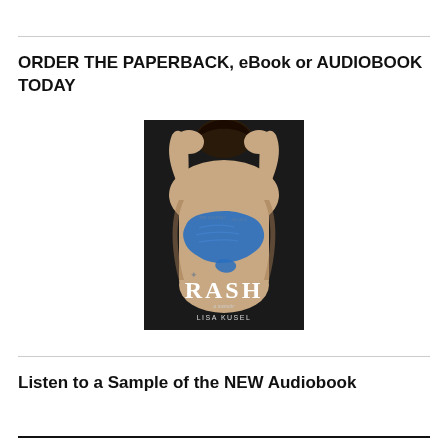ORDER THE PAPERBACK, eBook or AUDIOBOOK TODAY
[Figure (photo): Book cover of 'RASH: a memoir' by Lisa Kusel. Shows a person's bare back with hands raised to their head, and a blue map shape painted on their skin. The title 'RASH' appears in large white serif font, with 'a memoir' in smaller italic text below, and 'LISA KUSEL' at the bottom. Dark, moody background.]
Listen to a Sample of the NEW Audiobook